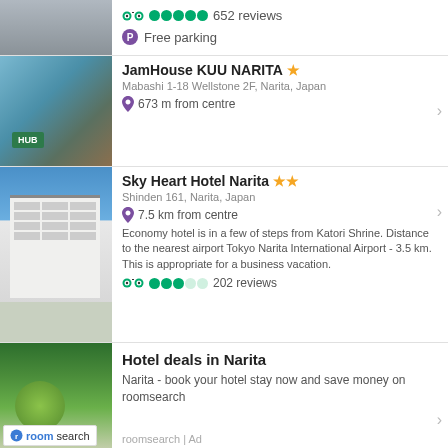[Figure (photo): Gray building exterior with trees, partial top view]
652 reviews
Free parking
[Figure (photo): Interior of JamHouse KUU NARITA showing a reception/hub area with world map mural and teal counter]
JamHouse KUU NARITA
Mabashi 1-18 Wellstone 2F, Narita, Japan
673 m from centre
[Figure (photo): White multi-story Sky Heart Hotel Narita building exterior against blue sky]
Sky Heart Hotel Narita
Shinden 161, Narita, Japan
7.5 km from centre
Economy hotel is in a few of steps from Katori Shrine. Distance to the nearest airport Tokyo Narita International Airport - 3.5 km. This is appropriate for a business vacation.
202 reviews
[Figure (photo): Garden with circular fountain and surrounding trees, roomsearch logo overlay]
Hotel deals in Narita
Narita - book your hotel stay now and save money on roomsearch
roomsearch | Ad